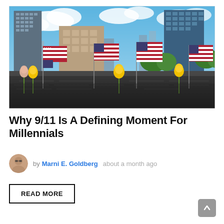[Figure (photo): Photo of the 9/11 memorial in New York City. American flags and yellow roses placed along the memorial wall, with Manhattan skyscrapers and a blue sky with clouds in the background.]
Why 9/11 Is A Defining Moment For Millennials
by Marni E. Goldberg  about a month ago
READ MORE